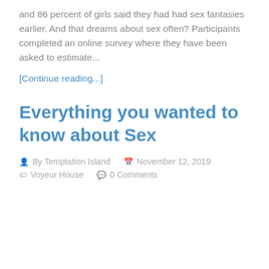and 86 percent of girls said they had had sex fantasies earlier. And that dreams about sex often? Participants completed an online survey where they have been asked to estimate...
[Continue reading...]
Everything you wanted to know about Sex
By Temptation Island   November 12, 2019   Voyeur House   0 Comments